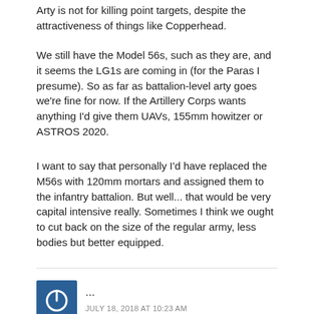Arty is not for killing point targets, despite the attractiveness of things like Copperhead.
We still have the Model 56s, such as they are, and it seems the LG1s are coming in (for the Paras I presume). So as far as battalion-level arty goes we’re fine for now. If the Artillery Corps wants anything I’d give them UAVs, 155mm howitzer or ASTROS 2020.
I want to say that personally I’d have replaced the M56s with 120mm mortars and assigned them to the infantry battalion. But well... that would be very capital intensive really. Sometimes I think we ought to cut back on the size of the regular army, less bodies but better equipped.
[Figure (other): Blue square avatar icon with a power/circle symbol in white]
...
JULY 18, 2018 AT 10:23 AM